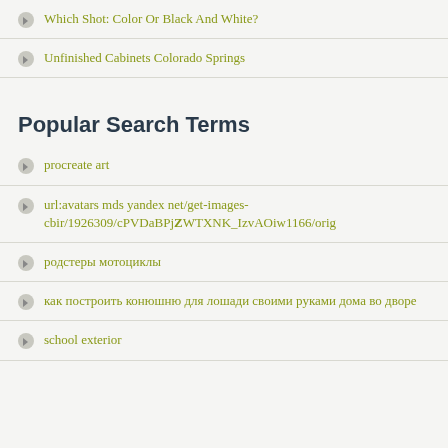Which Shot: Color Or Black And White?
Unfinished Cabinets Colorado Springs
Popular Search Terms
procreate art
url:avatars mds yandex net/get-images-cbir/1926309/cPVDaBPjZWTXNK_IzvAOiw1166/orig
родстеры мотоциклы
как построить конюшню для лошади своими руками дома во дворе
school exterior